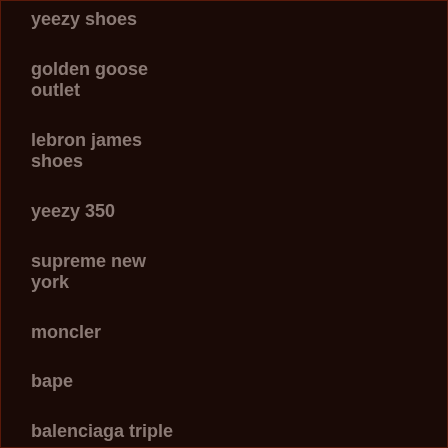yeezy shoes
golden goose outlet
lebron james shoes
yeezy 350
supreme new york
moncler
bape
balenciaga triple s
kevin durant
nike off white
yeezy